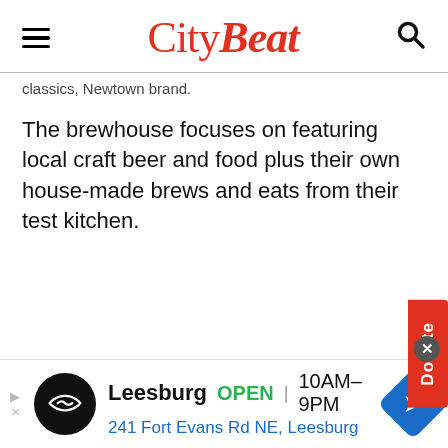CityBeat
classics, Newtown brand.
The brewhouse focuses on featuring local craft beer and food plus their own house-made brews and eats from their test kitchen.
[Figure (other): Donate button (vertical red tab on right side)]
[Figure (other): Advertisement banner: Leesburg OPEN 10AM–9PM, 241 Fort Evans Rd NE, Leesburg]